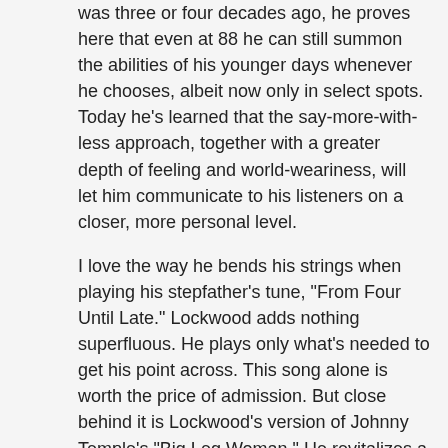was three or four decades ago, he proves here that even at 88 he can still summon the abilities of his younger days whenever he chooses, albeit now only in select spots. Today he's learned that the say-more-with-less approach, together with a greater depth of feeling and world-weariness, will let him communicate to his listeners on a closer, more personal level.
I love the way he bends his strings when playing his stepfather's tune, "From Four Until Late." Lockwood adds nothing superfluous. He plays only what's needed to get his point across. This song alone is worth the price of admission. But close behind it is Lockwood's version of Johnny Temple's "Big Leg Woman." He revitalizes a tune many of you will already be familiar with. Lockwood has been playing and singing many of the songs on The Legend Live for most of his life and he knows them inside and out. As a result, he looks for new ways of interpreting them that keep them fresh, much as jazz musicians do for the tunes they choose to play. An example of this rejuvenation is Lockwood, Jr.'s rendition of "In the Evening." Here it is sung with an I'll-see-ya-later feel, as opposed to its more familiar farewell style.